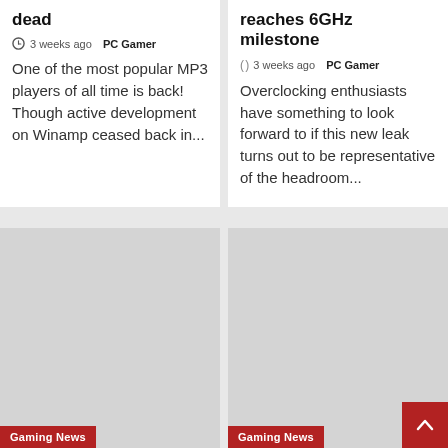dead
3 weeks ago  PC Gamer
One of the most popular MP3 players of all time is back! Though active development on Winamp ceased back in...
reaches 6GHz milestone
3 weeks ago  PC Gamer
Overclocking enthusiasts have something to look forward to if this new leak turns out to be representative of the headroom...
[Figure (photo): Gaming news article thumbnail image placeholder - left card, bottom row]
Gaming News
[Figure (photo): Gaming news article thumbnail image placeholder - right card, bottom row]
Gaming News